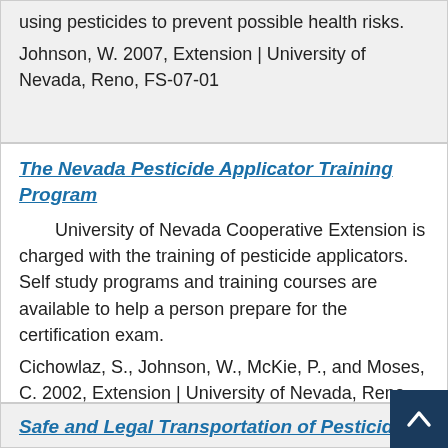using pesticides to prevent possible health risks.
Johnson, W. 2007, Extension | University of Nevada, Reno, FS-07-01
The Nevada Pesticide Applicator Training Program
University of Nevada Cooperative Extension is charged with the training of pesticide applicators. Self study programs and training courses are available to help a person prepare for the certification exam.
Cichowlaz, S., Johnson, W., McKie, P., and Moses, C. 2002, Extension | University of Nevada, Reno, FS-02-02
Safe and Legal Transportation of Pesticides